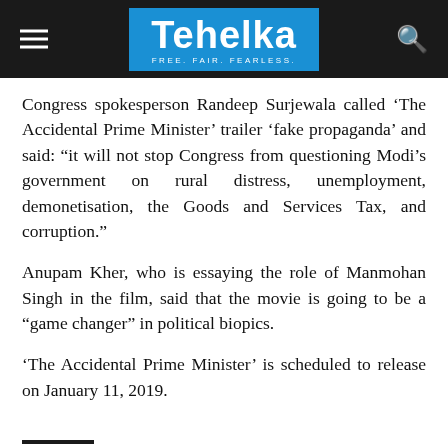Tehelka — FREE. FAIR. FEARLESS.
Congress spokesperson Randeep Surjewala called ‘The Accidental Prime Minister’ trailer ‘fake propaganda’ and said: “it will not stop Congress from questioning Modi’s government on rural distress, unemployment, demonetisation, the Goods and Services Tax, and corruption.”
Anupam Kher, who is essaying the role of Manmohan Singh in the film, said that the movie is going to be a “game changer” in political biopics.
‘The Accidental Prime Minister’ is scheduled to release on January 11, 2019.